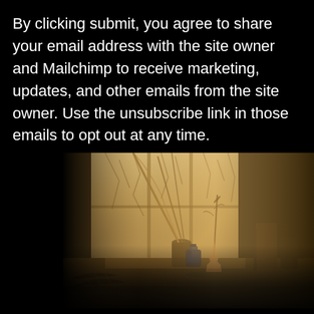By clicking submit, you agree to share your email address with the site owner and Mailchimp to receive marketing, updates, and other emails from the site owner. Use the unsubscribe link in those emails to opt out at any time.
[Figure (photo): A dimly lit desk scene photographed in warm tones near a window. The window shows bare winter trees outside in snowy light. On the desk are feathers/quills in a cup, a wooden vase/candlestick, dried botanical sprigs, an ink bottle, books/frames, and scattered twigs. Warm golden back-light from the window creates a moody, atmospheric composition.]